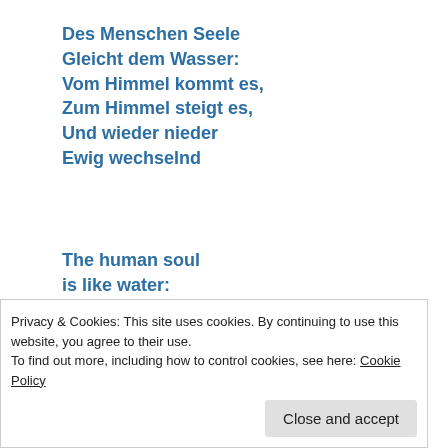Des Menschen Seele
Gleicht dem Wasser:
Vom Himmel kommt es,
Zum Himmel steigt es,
Und wieder nieder
Ewig wechselnd
The human soul
is like water:
it comes from heaven,
it rises to heaven,
Privacy & Cookies: This site uses cookies. By continuing to use this website, you agree to their use.
To find out more, including how to control cookies, see here: Cookie Policy